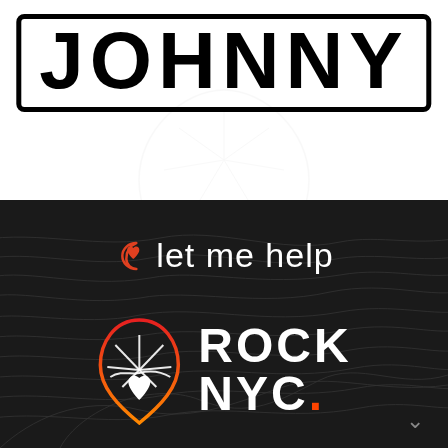[Figure (logo): JOHNNY stylized text logo in bold black uppercase letters with rounded rectangle border, on white background with faint guitar pick watermark]
[Figure (logo): Moon/heart icon followed by 'let me help' text in white on dark background with topographic line pattern]
[Figure (logo): Rock NYC logo: guitar pick map pin icon in red/orange/white outline next to 'ROCK NYC.' bold white text with orange dot, on dark topographic background]